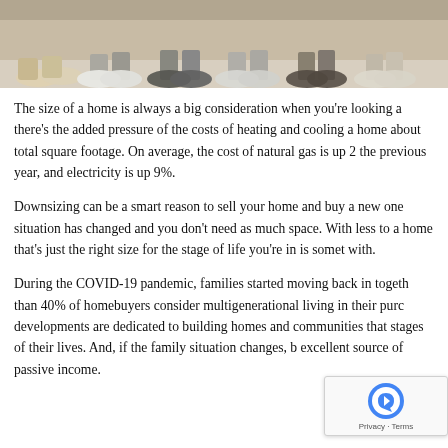[Figure (photo): Cropped photo showing the lower legs and feet of a group of people (family) standing together on a light-colored floor or rug, wearing various sneakers and casual shoes.]
The size of a home is always a big consideration when you're looking a... there's the added pressure of the costs of heating and cooling a home... about total square footage. On average, the cost of natural gas is up 2... the previous year, and electricity is up 9%.
Downsizing can be a smart reason to sell your home and buy a new one... situation has changed and you don't need as much space. With less to... a home that's just the right size for the stage of life you're in is somet... with.
During the COVID-19 pandemic, families started moving back in togeth... than 40% of homebuyers consider multigenerational living in their purc... developments are dedicated to building homes and communities that... stages of their lives. And, if the family situation changes, b... excellent source of passive income.